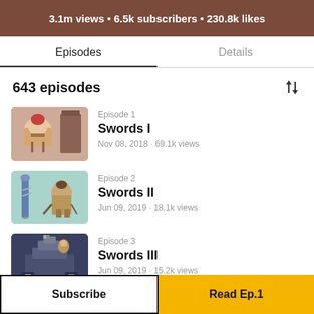3.1m views • 6.5k subscribers • 230.8k likes
Episodes | Details
643 episodes
Episode 1
Swords I
Nov 08, 2018 · 69.1k views
Episode 2
Swords II
Jun 09, 2019 · 18.1k views
Episode 3
Swords III
Jun 09, 2019 · 15.2k views
Episode 4